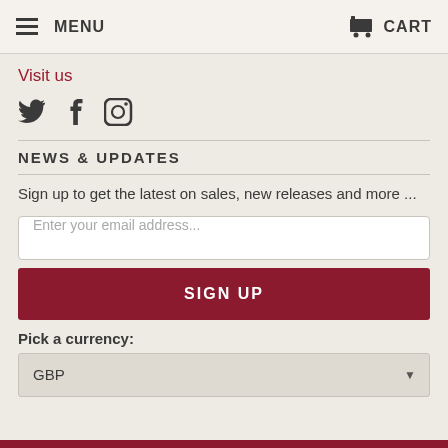MENU   CART
Visit us
[Figure (illustration): Social media icons: Twitter bird, Facebook f, Instagram camera]
NEWS & UPDATES
Sign up to get the latest on sales, new releases and more ...
Enter your email address...
SIGN UP
Pick a currency:
GBP